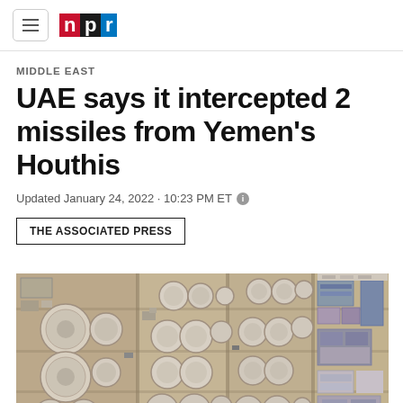npr
MIDDLE EAST
UAE says it intercepted 2 missiles from Yemen's Houthis
Updated January 24, 2022 · 10:23 PM ET
THE ASSOCIATED PRESS
[Figure (photo): Aerial satellite view of an industrial facility with multiple large circular storage tanks arranged in groups, surrounded by sandy/desert terrain. The facility appears to be an oil or fuel storage complex.]